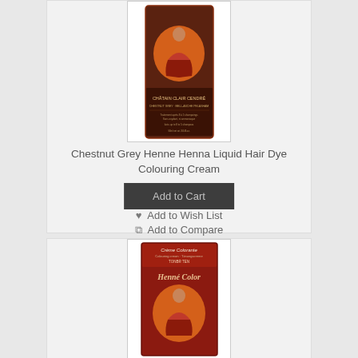[Figure (photo): Product image of Chestnut Grey Henne Henna Liquid Hair Dye Colouring Cream in a dark red/brown bottle with vintage lady illustration and French text 'Chatain Clair Cendre']
Chestnut Grey Henne Henna Liquid Hair Dye Colouring Cream
Add to Cart
Add to Wish List
Add to Compare
[Figure (photo): Product image of Creme Colorante Henne Color hair dye cream with vintage lady illustration on dark red packaging, French text visible]